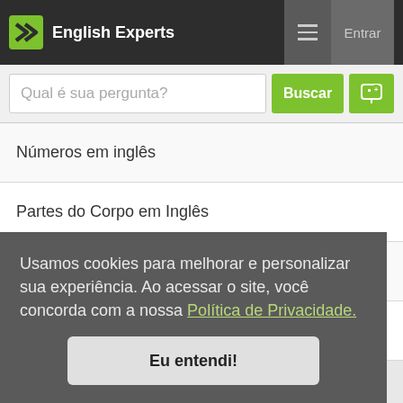English Experts
Números em inglês
Partes do Corpo em Inglês
Planetas em inglês
Plantas em inglês
Usamos cookies para melhorar e personalizar sua experiência. Ao acessar o site, você concorda com a nossa Política de Privacidade.
Eu entendi!